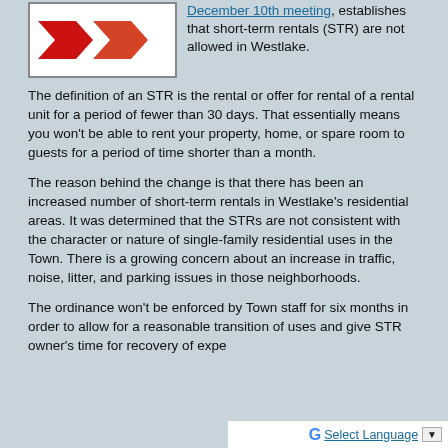[Figure (logo): Red chevron/arrow logo on white background]
December 10th meeting, establishes that short-term rentals (STR) are not allowed in Westlake.
The definition of an STR is the rental or offer for rental of a rental unit for a period of fewer than 30 days. That essentially means you won't be able to rent your property, home, or spare room to guests for a period of time shorter than a month.
The reason behind the change is that there has been an increased number of short-term rentals in Westlake’s residential areas. It was determined that the STRs are not consistent with the character or nature of single-family residential uses in the Town. There is a growing concern about an increase in traffic, noise, litter, and parking issues in those neighborhoods.
The ordinance won't be enforced by Town staff for six months in order to allow for a reasonable transition of uses and give STR owner's time for recovery of expe...
Select Language